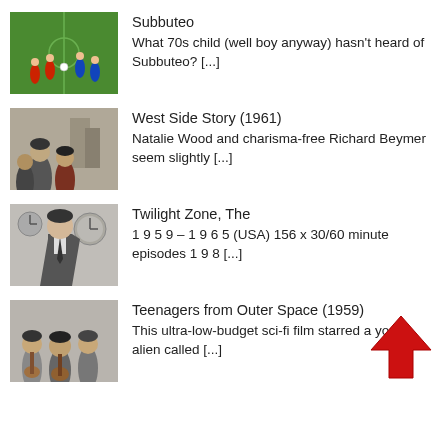[Figure (photo): Subbuteo football figurines on green pitch, colorful players]
Subbuteo
What 70s child (well boy anyway) hasn't heard of Subbuteo? [...]
[Figure (photo): Black and white still from West Side Story 1961, young men]
West Side Story (1961)
Natalie Wood and charisma-free Richard Beymer seem slightly [...]
[Figure (photo): Black and white still from Twilight Zone, man in suit]
Twilight Zone, The
1 9 5 9 – 1 9 6 5 (USA) 156 x 30/60 minute episodes 1 9 8 [...]
[Figure (photo): Black and white still from Teenagers from Outer Space 1959, young people with guitars]
Teenagers from Outer Space (1959)
This ultra-low-budget sci-fi film starred a young alien called [...]